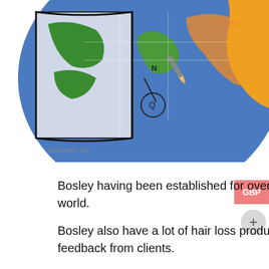[Figure (illustration): Colorful cartoon illustration of a globe with map, pencil, and orange shape, partially cropped at top of page. Watermark text 'philipmartin.info' visible below.]
Bosley having been established for over 40 years have branches right across the US and the world.
Bosley also have a lot of hair loss products under their brand, and these mostly have a good feedback from clients.
These products are primarily designed to slow down hair loss, and perhaps regrow new hair.